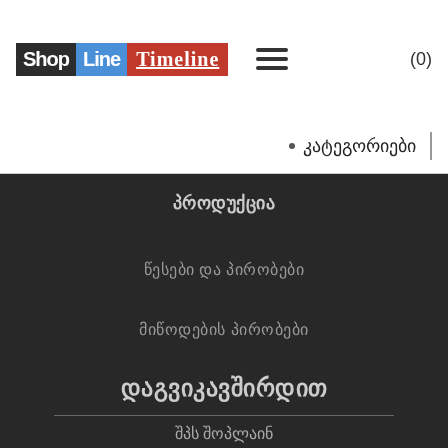[Figure (logo): ShopLine Timeline logo with hamburger menu and cart counter]
კატეგორიები
პროდუქცია
წესები და პირობები
მიწოდების პირობები
დაგვიკავშირდით
შპს შოპლაინ
596116411
Ltdshopline@gmail.com